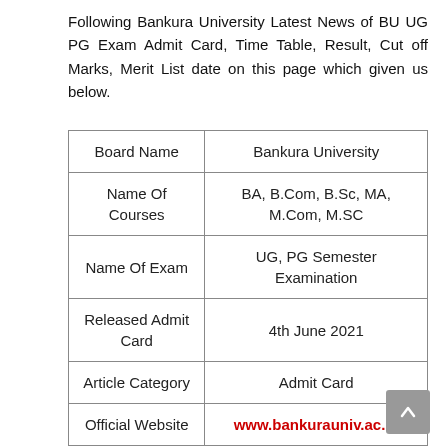Following Bankura University Latest News of BU UG PG Exam Admit Card, Time Table, Result, Cut off Marks, Merit List date on this page which given us below.
| Board Name | Bankura University |
| --- | --- |
| Name Of Courses | BA, B.Com, B.Sc, MA, M.Com, M.SC |
| Name Of Exam | UG, PG Semester Examination |
| Released Admit Card | 4th June 2021 |
| Article Category | Admit Card |
| Official Website | www.bankurauniv.ac.in |